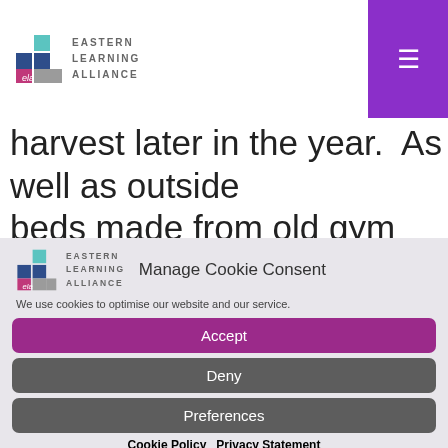Eastern Learning Alliance
harvest later in the year.  As well as outside beds made from old gym equipment, we have
[Figure (logo): Eastern Learning Alliance logo with stacked coloured blocks and text]
Manage Cookie Consent
We use cookies to optimise our website and our service.
Accept
Deny
Preferences
Cookie Policy   Privacy Statement